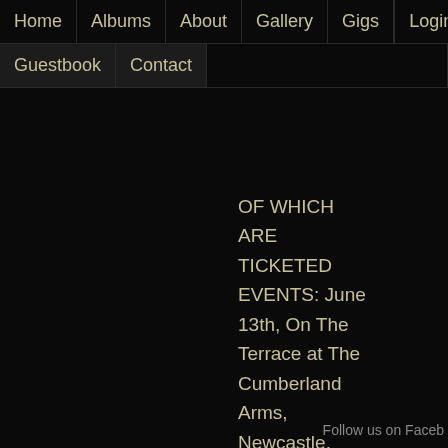Home | Albums | About | Gallery | Gigs | Login
Guestbook | Contact
OF WHICH ARE TICKETED EVENTS: June 13th, On The Terrace at The Cumberland Arms, Newcastle, June 26th "The Wilson Family Sing Sea Coal", as part of "Little Waterfronts: Legends of
out the website pages by clicking on the above image for more details.
Follow us on Faceb